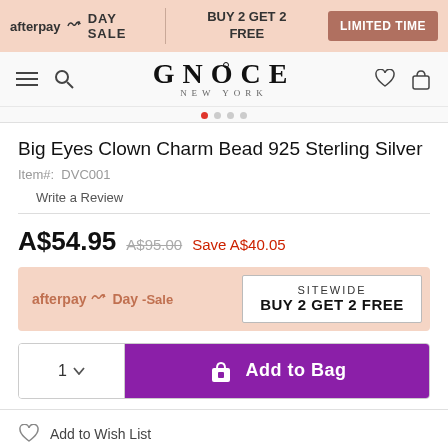afterpay Day SALE | BUY 2 GET 2 FREE | LIMITED TIME
[Figure (logo): GNOCE NEW YORK logo with hamburger menu, search, heart and bag icons]
Big Eyes Clown Charm Bead 925 Sterling Silver
Item#:  DVC001
Write a Review
A$54.95  A$95.00  Save A$40.05
[Figure (infographic): afterpay Day-Sale promotional banner: SITEWIDE BUY 2 GET 2 FREE]
1 ∨  Add to Bag
Add to Wish List